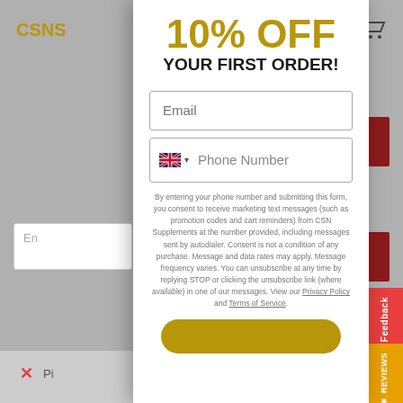10% OFF
YOUR FIRST ORDER!
Email
Phone Number
By entering your phone number and submitting this form, you consent to receive marketing text messages (such as promotion codes and cart reminders) from CSN Supplements at the number provided, including messages sent by autodialer. Consent is not a condition of any purchase. Message and data rates may apply. Message frequency varies. You can unsubscribe at any time by replying STOP or clicking the unsubscribe link (where available) in one of our messages. View our Privacy Policy and Terms of Service.